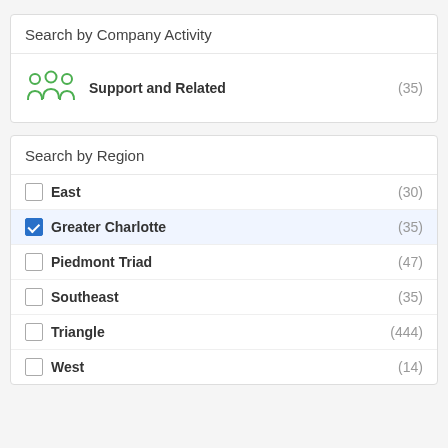Search by Company Activity
Support and Related (35)
Search by Region
East (30)
Greater Charlotte (35)
Piedmont Triad (47)
Southeast (35)
Triangle (444)
West (14)